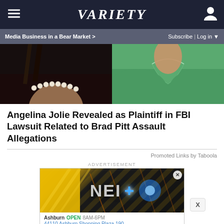VARIETY
Media Business in a Bear Market > | Subscribe | Log in
[Figure (photo): Split photo: left side shows a woman with pearl necklace against dark background; right side shows a person in green jacket.]
Angelina Jolie Revealed as Plaintiff in FBI Lawsuit Related to Brad Pitt Assault Allegations
Promoted Links by Taboola
ADVERTISEMENT
[Figure (screenshot): Advertisement banner showing 'NEI+' logo in blue light, with local business info: Ashburn OPEN 8AM-6PM, 44110 Ashburn Shopping Plaza 190. HC yellow icon and blue navigation arrow shown. View store hours, get directions link visible.]